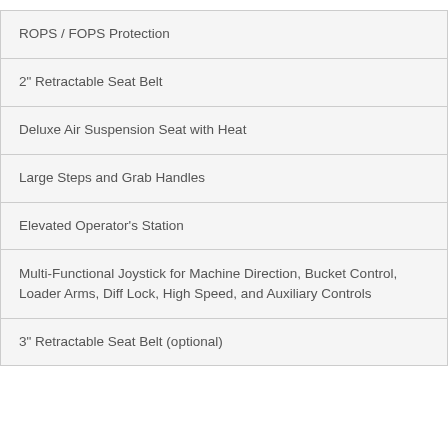| ROPS / FOPS Protection |
| 2" Retractable Seat Belt |
| Deluxe Air Suspension Seat with Heat |
| Large Steps and Grab Handles |
| Elevated Operator's Station |
| Multi-Functional Joystick for Machine Direction, Bucket Control, Loader Arms, Diff Lock, High Speed, and Auxiliary Controls |
| 3" Retractable Seat Belt (optional) |